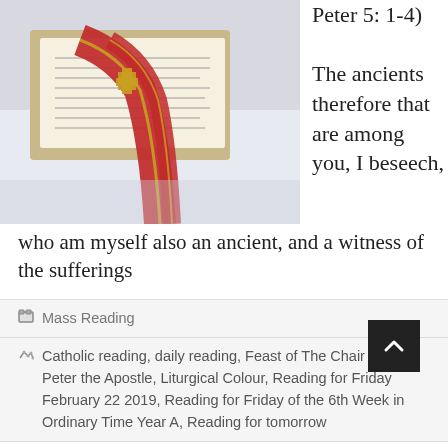[Figure (photo): Photo of an open liturgical book on a stand with red and gold vestments draped over a white-cloth covered surface]
Peter 5: 1-4)

The ancients therefore that are among you, I beseech,
who am myself also an ancient, and a witness of the sufferings
Mass Reading
Catholic reading, daily reading, Feast of The Chair of Saint Peter the Apostle, Liturgical Colour, Reading for Friday February 22 2019, Reading for Friday of the 6th Week in Ordinary Time Year A, Reading for tomorrow
Reading for Wednesday of the 6th Week in